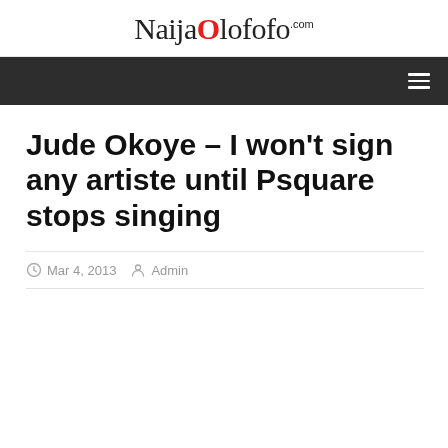NaijaOlofofo.com
Jude Okoye – I won't sign any artiste until Psquare stops singing
Mar 4, 2013   Admin